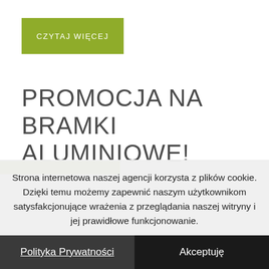CZYTAJ WIĘCEJ
PROMOCJA NA BRAMKI ALUMINIOWE!
Strona internetowa naszej agencji korzysta z plików cookie. Dzięki temu możemy zapewnić naszym użytkownikom satysfakcjonujące wrażenia z przeglądania naszej witryny i jej prawidłowe funkcjonowanie.
Polityka Prywatności
Akceptuję